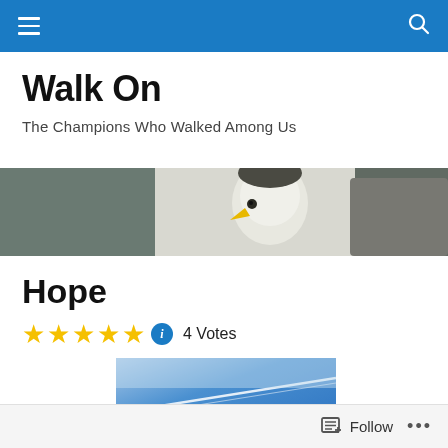Walk On — navigation bar with hamburger menu and search icon
Walk On
The Champions Who Walked Among Us
[Figure (photo): Close-up photo of a bald eagle against rocky background]
Hope
4 Votes
[Figure (photo): Blue sky with contrail/vapor trail]
Follow   ...